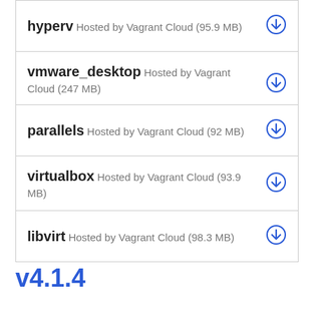hyperv Hosted by Vagrant Cloud (95.9 MB)
vmware_desktop Hosted by Vagrant Cloud (247 MB)
parallels Hosted by Vagrant Cloud (92 MB)
virtualbox Hosted by Vagrant Cloud (93.9 MB)
libvirt Hosted by Vagrant Cloud (98.3 MB)
v4.1.4